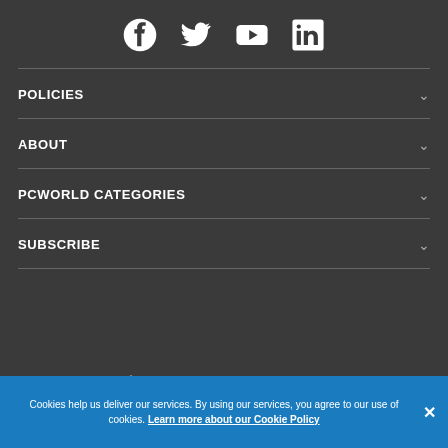[Figure (other): Social media icons row: Facebook, Twitter, YouTube, LinkedIn]
POLICIES
ABOUT
PCWORLD CATEGORIES
SUBSCRIBE
[Figure (logo): FOUNDRY logo in white text]
Copyright © 2022 IDG Communications, Inc.
Cookies help us deliver our services. By using our services, you agree to our use of cookies. Learn more about our Cookie Policy